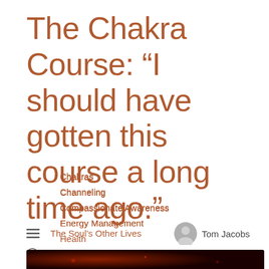The Chakra Course: “I should have gotten this course a long time ago.”
Chakras
Channeling
Compassionate Awareness
Energy Management
Health
Karma
Listening to the Body
Sexual Healing
Sexuality
The Soul’s Other Lives
Tom Jacobs
January 7, 2021
[Figure (photo): Dark reddish image bar at bottom of page]